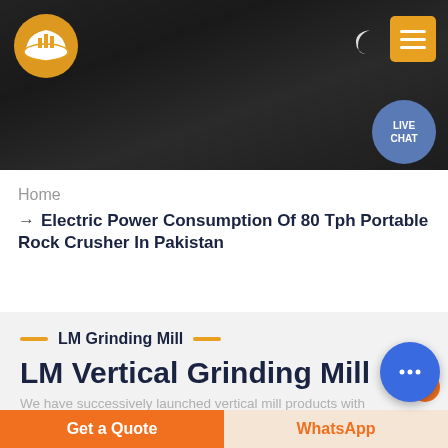[Figure (screenshot): Website header banner with dark rocky background, company logo (orange hard hat icon) top left, moon/dark mode icon, orange menu button top right, and Live Chat circle button]
Home
→ Electric Power Consumption Of 80 Tph Portable Rock Crusher In Pakistan
LM Grinding Mill
LM Vertical Grinding Mill
We have successively launched vertical mill products with
[Figure (other): Blue circular chat floating button with ellipsis icon]
Get a Quote
WhatsApp